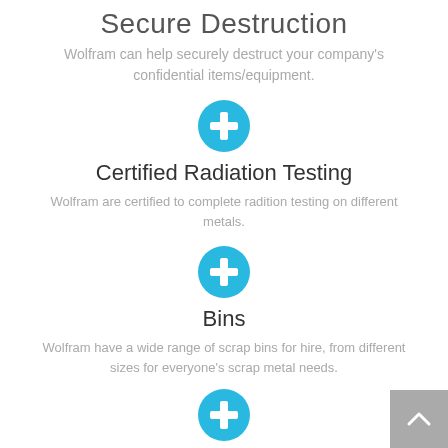Secure Destruction
Wolfram can help securely destruct your company's confidential items/equipment.
[Figure (illustration): Cyan circle with white plus/add icon]
Certified Radiation Testing
Wolfram are certified to complete radition testing on different metals.
[Figure (illustration): Cyan circle with white plus/add icon]
Bins
Wolfram have a wide range of scrap bins for hire, from different sizes for everyone's scrap metal needs.
[Figure (illustration): Cyan circle with white plus/add icon (partially visible at bottom)]
[Figure (illustration): Back to top button - grey square with white upward chevron arrow in bottom right corner]